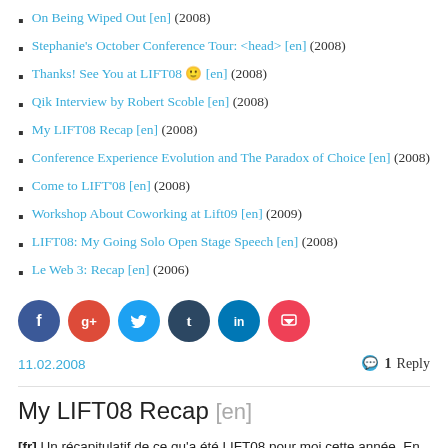On Being Wiped Out [en] (2008)
Stephanie's October Conference Tour: <head> [en] (2008)
Thanks! See You at LIFT08 🙂 [en] (2008)
Qik Interview by Robert Scoble [en] (2008)
My LIFT08 Recap [en] (2008)
Conference Experience Evolution and The Paradox of Choice [en] (2008)
Come to LIFT'08 [en] (2008)
Workshop About Coworking at Lift09 [en] (2009)
LIFT08: My Going Solo Open Stage Speech [en] (2008)
Le Web 3: Recap [en] (2006)
[Figure (infographic): Row of 6 social media share icons: Facebook (dark blue), Google+ (red), Twitter (light blue), Tumblr (dark navy), LinkedIn (blue), Pocket (red-pink)]
11.02.2008    💬 1 Reply
My LIFT08 Recap [en]
[fr] Un récapitulatif de ce qu'a été LIFT08 pour moi cette année. En